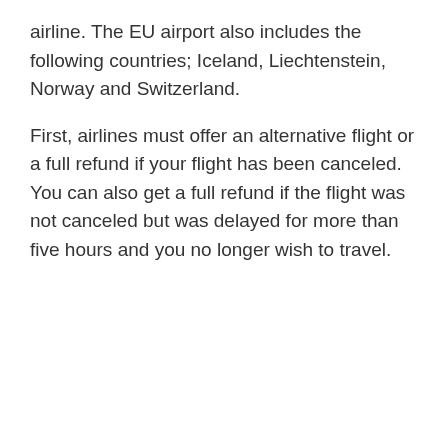airline. The EU airport also includes the following countries; Iceland, Liechtenstein, Norway and Switzerland.
First, airlines must offer an alternative flight or a full refund if your flight has been canceled. You can also get a full refund if the flight was not canceled but was delayed for more than five hours and you no longer wish to travel.